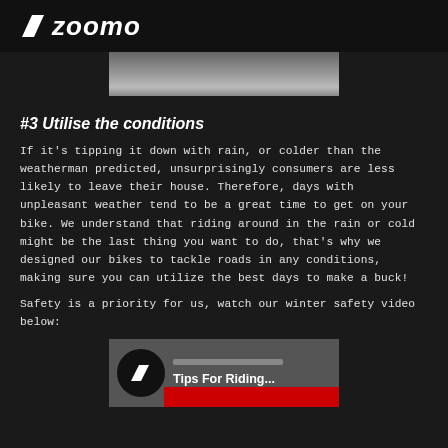zoomo
[Figure (photo): Partial black and white image of a Zoomo cargo/delivery bike, cropped at top]
#3 Utilise the conditions
If it's tipping it down with rain, or colder than the weatherman predicted, unsurprisingly consumers are less likely to leave their house. Therefore, days with unpleasant weather tend to be a great time to get on your bike. We understand that riding around in the rain or cold might be the last thing you want to do, that's why we designed our bikes to tackle roads in any conditions, making sure you can utilize the best days to make a buck!
Safety is a priority for us, watch our winter safety video below:
[Figure (screenshot): Video thumbnail showing Zoomo logo icon and text 'Tips For Riding...' with a red YouTube play button bar at bottom]